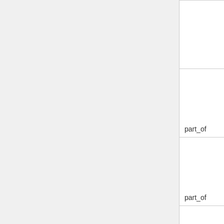| relationship | GO ID |
| --- | --- |
| part_of | GO:0005769 |
| part_of | GO:0005769 |
| part_of | GO:0005769 |